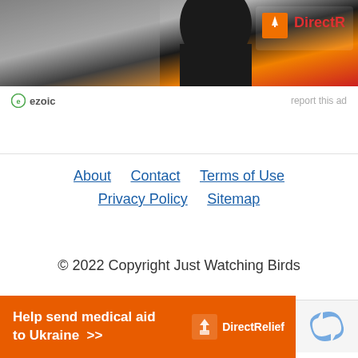[Figure (photo): Advertisement banner image showing a person wearing a black shirt with Direct Relief logo and branding]
ezoic   report this ad
About   Contact   Terms of Use   Privacy Policy   Sitemap
© 2022 Copyright Just Watching Birds
[Figure (other): reCAPTCHA widget partial view]
[Figure (other): Orange advertisement banner: Help send medical aid to Ukraine >> DirectRelief logo]